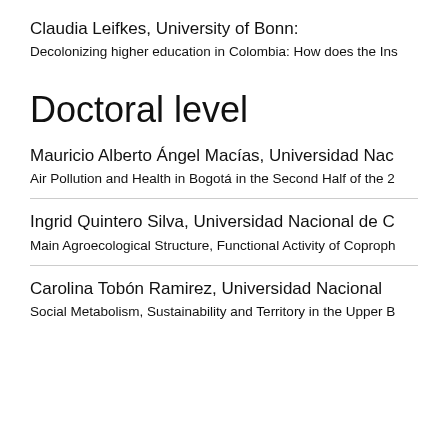Claudia Leifkes, University of Bonn:
Decolonizing higher education in Colombia: How does the Ins
Doctoral level
Mauricio Alberto Ángel Macías, Universidad Nac
Air Pollution and Health in Bogotá in the Second Half of the 2
Ingrid Quintero Silva, Universidad Nacional de C
Main Agroecological Structure, Functional Activity of Coprophа
Carolina Tobón Ramirez, Universidad Nacional
Social Metabolism, Sustainability and Territory in the Upper B